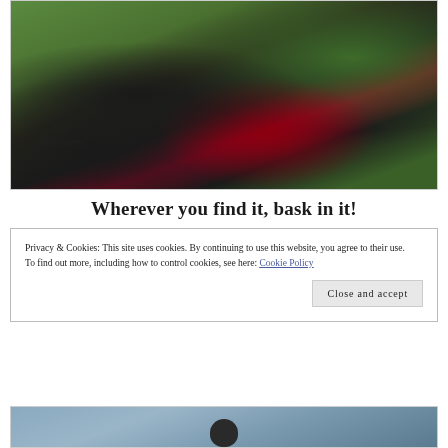[Figure (photo): Outdoor photo showing black fabric with red trim/border draped on the ground among green grass and plants, with a path visible. Copyright watermark reads '© Resa McConaghy' in italic script.]
Wherever you find it, bask in it!
Privacy & Cookies: This site uses cookies. By continuing to use this website, you agree to their use.
To find out more, including how to control cookies, see here: Cookie Policy
Close and accept
[Figure (photo): Partial bottom strip of another outdoor photo, showing what appears to be a person's dark head/hair at the bottom of the frame against a light blue-grey sky or background.]